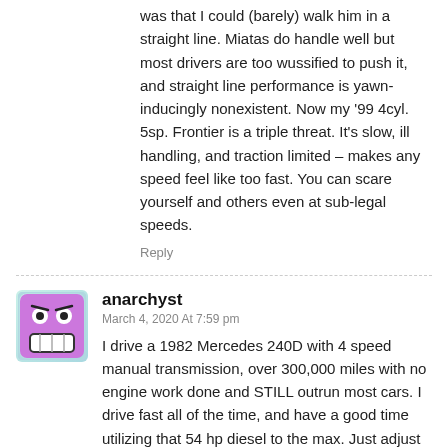was that I could (barely) walk him in a straight line. Miatas do handle well but most drivers are too wussified to push it, and straight line performance is yawn-inducingly nonexistent. Now my '99 4cyl. 5sp. Frontier is a triple threat. It's slow, ill handling, and traction limited – makes any speed feel like too fast. You can scare yourself and others even at sub-legal speeds.
Reply
[Figure (illustration): Avatar icon: pink/purple square with cartoon face showing teeth and wide eyes]
anarchyst
March 4, 2020 At 7:59 pm
I drive a 1982 Mercedes 240D with 4 speed manual transmission, over 300,000 miles with no engine work done and STILL outrun most cars. I drive fast all of the time, and have a good time utilizing that 54 hp diesel to the max. Just adjust the valve lash every 15,000 miles and oil changes twice a year.